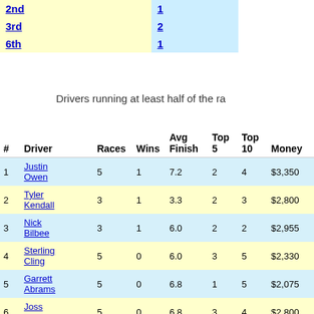| Position | Count |
| --- | --- |
| 2nd | 1 |
| 3rd | 2 |
| 6th | 1 |
Drivers running at least half of the ra
| # | Driver | Races | Wins | Avg Finish | Top 5 | Top 10 | Money | Avg TT | Feature Starts | Av Fe St |
| --- | --- | --- | --- | --- | --- | --- | --- | --- | --- | --- |
| 1 | Justin Owen | 5 | 1 | 7.2 | 2 | 4 | $3,350 | 5.0 | 5 | 7.0 |
| 2 | Tyler Kendall | 3 | 1 | 3.3 | 2 | 3 | $2,800 | 4.3 | 3 | 2.3 |
| 3 | Nick Bilbee | 3 | 1 | 6.0 | 2 | 2 | $2,955 | 4.7 | 3 | 4.3 |
| 4 | Sterling Cling | 5 | 0 | 6.0 | 3 | 5 | $2,330 | 5.2 | 5 | 6.2 |
| 5 | Garrett Abrams | 5 | 0 | 6.8 | 1 | 5 | $2,075 | 8.5 | 5 | 9.4 |
| 6 | Joss Moffatt | 5 | 0 | 6.8 | 3 | 4 | $2,800 | 8.8 | 5 | 6.0 |
| 7 | Michael Fischesser | 5 | 0 | 8.8 | 1 | 3 | $1,925 | 10.2 | 5 | 8.2 |